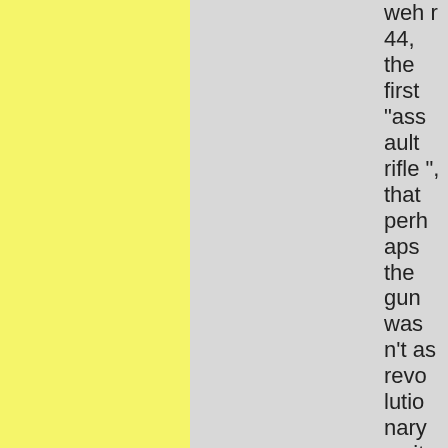wehr 44, the first "assault rifle", that perhaps the gun wasn't as revolutionary as it was first clai